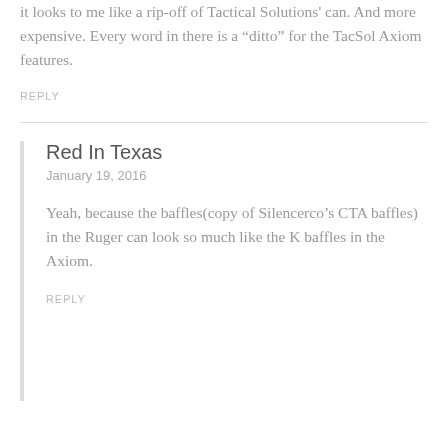it looks to me like a rip-off of Tactical Solutions' can. And more expensive. Every word in there is a “ditto” for the TacSol Axiom features.
REPLY
Red In Texas
January 19, 2016
Yeah, because the baffles(copy of Silencerco’s CTA baffles) in the Ruger can look so much like the K baffles in the Axiom.
REPLY